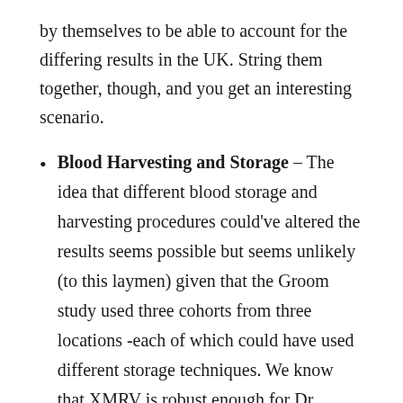by themselves to be able to account for the differing results in the UK. String them together, though, and you get an interesting scenario.
Blood Harvesting and Storage – The idea that different blood storage and harvesting procedures could've altered the results seems possible but seems unlikely (to this laymen) given that the Groom study used three cohorts from three locations -each of which could have used different storage techniques. We know that XMRV is robust enough for Dr. Peterson to be able to pull XMRV out of a 20 year frozen sample but the possibility does remain that the Groom study inadvertently used blood storage techniques suitable for other viruses but not for XMRV. Laymen's Conclusion